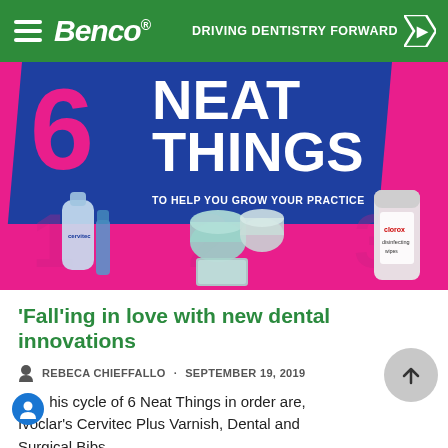Benco® — DRIVING DENTISTRY FORWARD
[Figure (illustration): Promotional banner showing '6 NEAT THINGS TO HELP YOU GROW YOUR PRACTICE' with dental product images on a pink and blue background]
'Fall'ing in love with new dental innovations
REBECA CHIEFFALLO · SEPTEMBER 19, 2019
This cycle of 6 Neat Things in order are, Ivoclar's Cervitec Plus Varnish, Dental and Surgical Bibs